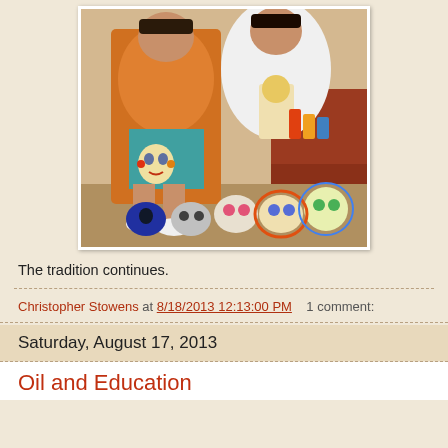[Figure (photo): Two young people sitting on steps displaying colorful Day of the Dead folk art including painted skull masks and figurines]
The tradition continues.
Christopher Stowens at 8/18/2013 12:13:00 PM    1 comment:
Saturday, August 17, 2013
Oil and Education